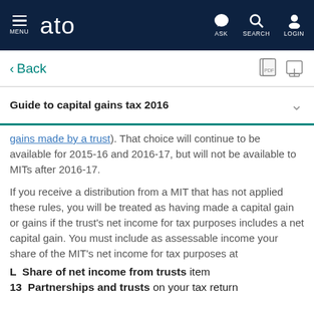MENU  ato  ASK  SEARCH  LOGIN
< Back
Guide to capital gains tax 2016
gains made by a trust). That choice will continue to be available for 2015-16 and 2016-17, but will not be available to MITs after 2016-17.
If you receive a distribution from a MIT that has not applied these rules, you will be treated as having made a capital gain or gains if the trust's net income for tax purposes includes a net capital gain. You must include as assessable income your share of the MIT's net income for tax purposes at
L  Share of net income from trusts item
13  Partnerships and trusts on your tax return